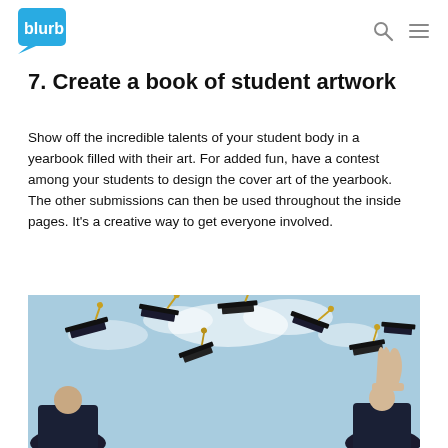blurb [logo with navigation search and menu icons]
7. Create a book of student artwork
Show off the incredible talents of your student body in a yearbook filled with their art. For added fun, have a contest among your students to design the cover art of the yearbook. The other submissions can then be used throughout the inside pages. It's a creative way to get everyone involved.
[Figure (photo): Photo taken from below showing graduating students in dark gowns tossing mortarboard caps into a blue sky with clouds]